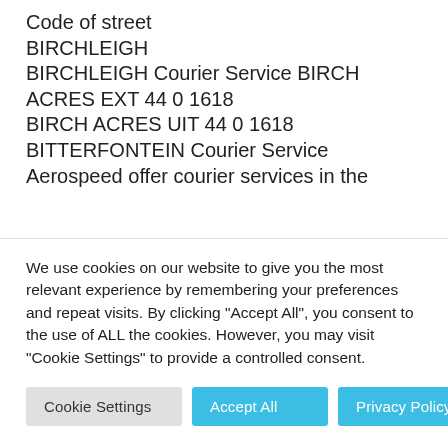Code of street
BIRCHLEIGH
BIRCHLEIGH Courier Service BIRCH ACRES EXT 44 0 1618
BIRCH ACRES UIT 44 0 1618
BITTERFONTEIN Courier Service
Aerospeed offer courier services in the
We use cookies on our website to give you the most relevant experience by remembering your preferences and repeat visits. By clicking "Accept All", you consent to the use of ALL the cookies. However, you may visit "Cookie Settings" to provide a controlled consent.
Cookie Settings | Accept All | Privacy Policy